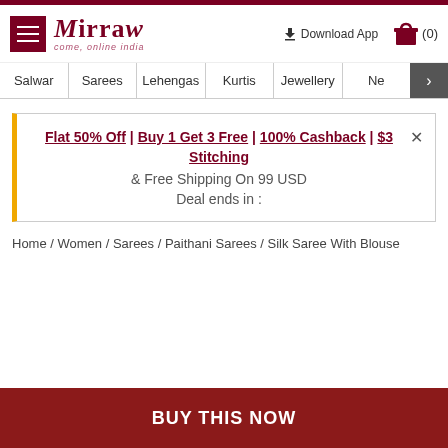Mirraw — COME, ONLINE INDIA
Salwar | Sarees | Lehengas | Kurtis | Jewellery | Ne >
Flat 50% Off | Buy 1 Get 3 Free | 100% Cashback | $3 Stitching & Free Shipping On 99 USD Deal ends in :
Home / Women / Sarees / Paithani Sarees / Silk Saree With Blouse
BUY THIS NOW